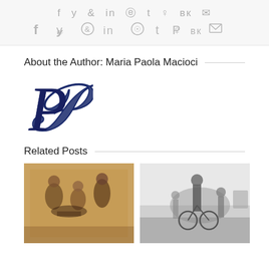[Figure (other): Social media share icons bar: Facebook, Twitter, Reddit, LinkedIn, WhatsApp, Tumblr, Pinterest, VK, Email]
About the Author: Maria Paola Macioci
[Figure (logo): Decorative italic letter P logo in dark navy blue, script/calligraphy style]
Related Posts
[Figure (photo): Ancient Roman fresco or mosaic depicting figures gathered around a table, playing a game or eating]
[Figure (photo): Black and white historical photograph of cyclists at a race, people gathered around bicycles]